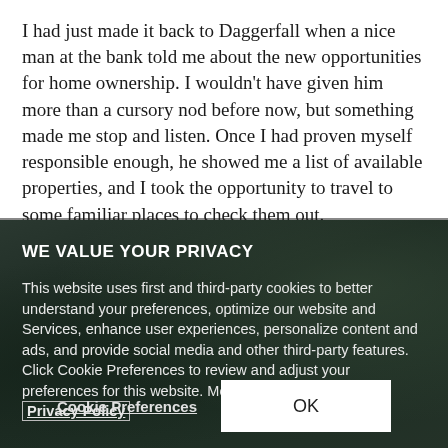I had just made it back to Daggerfall when a nice man at the bank told me about the new opportunities for home ownership. I wouldn't have given him more than a cursory nod before now, but something made me stop and listen. Once I had proven myself responsible enough, he showed me a list of available properties, and I took the opportunity to travel to some familiar places to check them out.
WE VALUE YOUR PRIVACY
This website uses first and third-party cookies to better understand your preferences, optimize our website and Services, enhance user experiences, personalize content and ads, and provide social media and other third-party features. Click Cookie Preferences to review and adjust your preferences for this website. More information: Privacy Policy